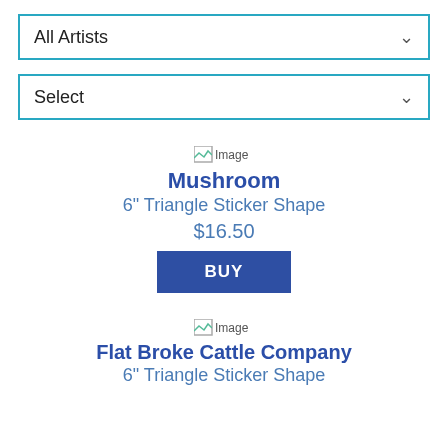All Artists
Select
[Figure (other): Broken image placeholder labeled 'Image']
Mushroom
6" Triangle Sticker Shape
$16.50
BUY
[Figure (other): Broken image placeholder labeled 'Image']
Flat Broke Cattle Company
6" Triangle Sticker Shape